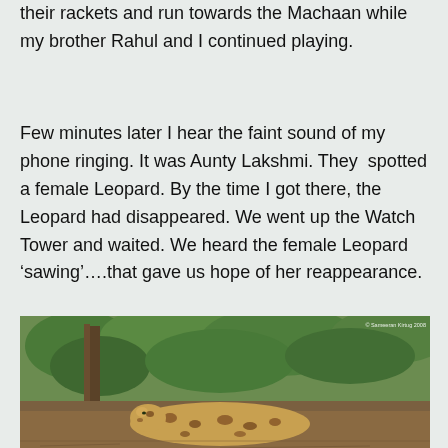their rackets and run towards the Machaan while my brother Rahul and I continued playing.
Few minutes later I hear the faint sound of my phone ringing. It was Aunty Lakshmi. They spotted a female Leopard. By the time I got there, the Leopard had disappeared. We went up the Watch Tower and waited. We heard the female Leopard ‘sawing’….that gave us hope of her reappearance.
[Figure (photo): A leopard resting on the ground in a forest setting with trees and green foliage in the background. Photo watermark reads '© Sameeran Kirtug 2008' or similar.]